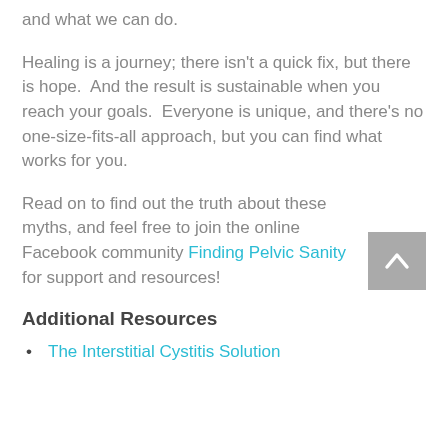and what we can do.
Healing is a journey; there isn't a quick fix, but there is hope.  And the result is sustainable when you reach your goals.  Everyone is unique, and there’s no one-size-fits-all approach, but you can find what works for you.
Read on to find out the truth about these myths, and feel free to join the online Facebook community Finding Pelvic Sanity for support and resources!
Additional Resources
The Interstitial Cystitis Solution